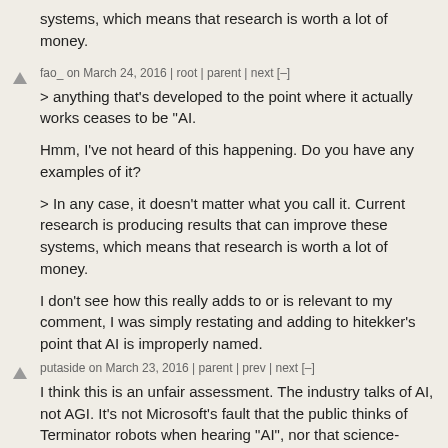systems, which means that research is worth a lot of money.
fao_ on March 24, 2016 | root | parent | next [–]
> anything that's developed to the point where it actually works ceases to be "AI.
Hmm, I've not heard of this happening. Do you have any examples of it?
> In any case, it doesn't matter what you call it. Current research is producing results that can improve these systems, which means that research is worth a lot of money.
I don't see how this really adds to or is relevant to my comment, I was simply restating and adding to hitekker's point that AI is improperly named.
putaside on March 23, 2016 | parent | prev | next [–]
I think this is an unfair assessment. The industry talks of AI, not AGI. It's not Microsoft's fault that the public thinks of Terminator robots when hearing "AI", nor that science-fiction stories have been written a 100 years ago.
The general public does not set budgets for AI research.
AI research benefits from faster processors, more memory and more advanced algorithms. Only philosophers (the domain of AGI is philosophy, not so much engineering or maths) are uncomfortable with those details.